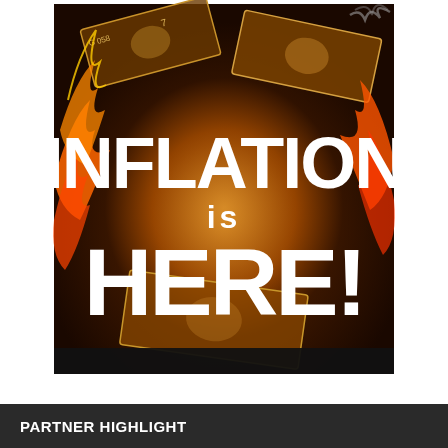[Figure (illustration): Cover image with burning US dollar bills with flames and smoke. Large bold white text overlaid reads 'INFLATION is HERE!' on a dark fiery background.]
PARTNER HIGHLIGHT